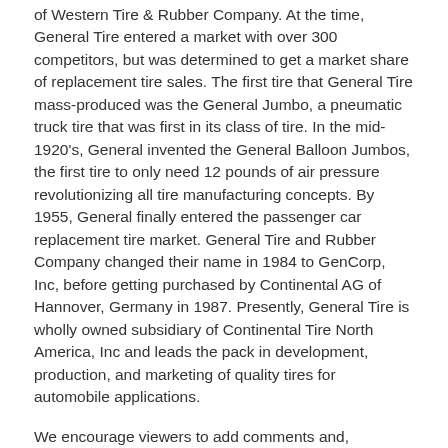of Western Tire & Rubber Company. At the time, General Tire entered a market with over 300 competitors, but was determined to get a market share of replacement tire sales. The first tire that General Tire mass-produced was the General Jumbo, a pneumatic truck tire that was first in its class of tire. In the mid-1920's, General invented the General Balloon Jumbos, the first tire to only need 12 pounds of air pressure revolutionizing all tire manufacturing concepts. By 1955, General finally entered the passenger car replacement tire market. General Tire and Rubber Company changed their name in 1984 to GenCorp, Inc, before getting purchased by Continental AG of Hannover, Germany in 1987. Presently, General Tire is wholly owned subsidiary of Continental Tire North America, Inc and leads the pack in development, production, and marketing of quality tires for automobile applications.
We encourage viewers to add comments and, especially, to provide additional information about our videos by adding a comment!  See something interesting?  Tell people what it is and what they can see by writing something for example: "01:00:12:00 -- President Roosevelt is seen meeting with